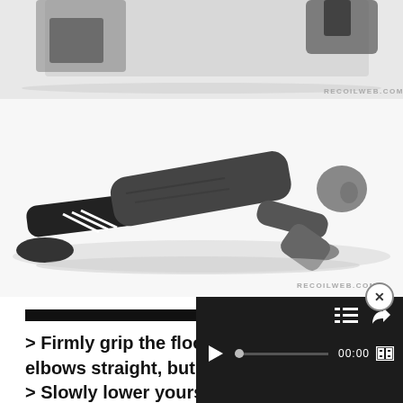[Figure (photo): Partial black and white image of a person doing a push-up exercise, cropped at top of page, with RECOILWEB.COM watermark]
[Figure (photo): Black and white full image of a man in push-up position on the floor, wearing dark athletic clothing, with RECOILWEB.COM watermark below]
> Firmly grip the floor with your hands, keep elbows straight, but not locked.
> Slowly lower yourself
[Figure (screenshot): Video player overlay UI with close button (x), playlist and share icons, play button, progress bar, 00:00 timecode, and fullscreen button, on dark background]